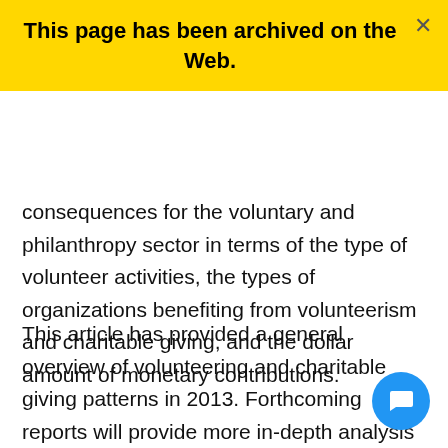This page has been archived on the Web.
consequences for the voluntary and philanthropy sector in terms of the type of volunteer activities, the types of organizations benefiting from volunteerism and charitable giving, and the dollar amount of monetary contributions.
This article has provided a general overview of volunteering and charitable giving patterns in 2013. Forthcoming reports will provide more in-depth analysis on both volunteering and charitable giving.